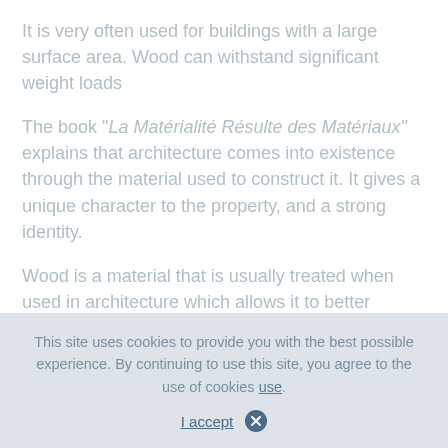It is very often used for buildings with a large surface area. Wood can withstand significant weight loads
The book "“La Maté rialité Résulte des Matériaux" explains that architecture comes into existence through the material used to construct it. It gives a unique character to the property, and a strong identity.
Wood is a material that is usually treated when used in architecture which allows it to better withstand climatic and environmental
This site uses cookies to provide you with the best possible experience. By continuing to use this site, you agree to the use of cookies use.
I accept